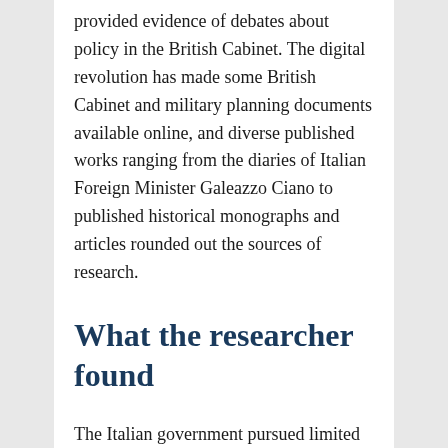provided evidence of debates about policy in the British Cabinet. The digital revolution has made some British Cabinet and military planning documents available online, and diverse published works ranging from the diaries of Italian Foreign Minister Galeazzo Ciano to published historical monographs and articles rounded out the sources of research.
What the researcher found
The Italian government pursued limited tactical aims in pursuing these agreements. It wanted to make as few concessions as possible while securing